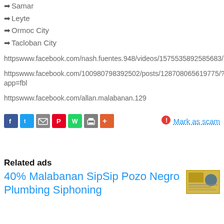➡Samar
➡Leyte
➡Ormoc City
➡Tacloban City
httpswww.facebook.com/nash.fuentes.948/videos/1575535892585683/
httpswww.facebook.com/100980798392502/posts/128708065619775/? app=fbl
httpswww.facebook.com/allan.malabanan.129
[Figure (other): Social sharing icons: Facebook, Twitter, Google, Pinterest, WhatsApp, Print, More; and a Mark as scam link]
Related ads
40% Malabanan SipSip Pozo Negro Plumbing Siphoning